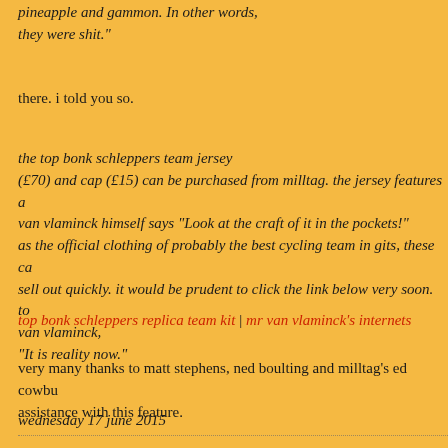pineapple and gammon. In other words, they were shit."
there. i told you so.
the top bonk schleppers team jersey (£70) and cap (£15) can be purchased from milltag. the jersey features a van vlaminck himself says "Look at the craft of it in the pockets!" as the official clothing of probably the best cycling team in gits, these ca sell out quickly. it would be prudent to click the link below very soon. to van vlaminck, "It is reality now."
top bonk schleppers replica team kit | mr van vlaminck's internets
very many thanks to matt stephens, ned boulting and milltag's ed cowbu assistance with this feature.
wednesday 17 june 2015